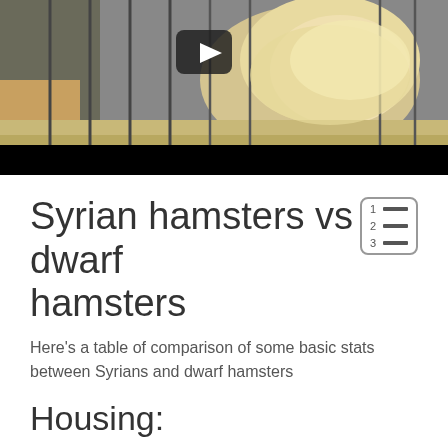[Figure (screenshot): Video thumbnail showing a hamster in a cage with metal bars, partially blurred/in motion. A play button icon is visible at the top center. A black control bar is at the bottom.]
Syrian hamsters vs dwarf hamsters
Here's a table of comparison of some basic stats between Syrians and dwarf hamsters
Housing:
After reaching 4 to 5 weeks of age, Syrians should be kept alone in separate cages. These are solitary animals after